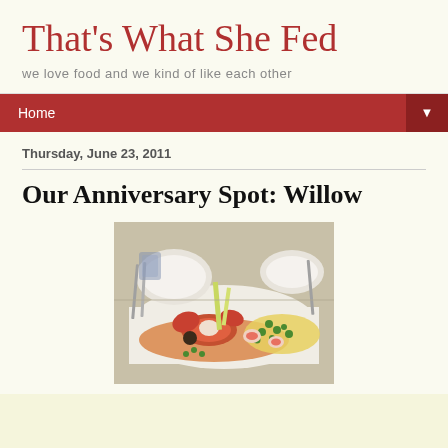That's What She Fed
we love food and we kind of like each other
Home ▼
Thursday, June 23, 2011
Our Anniversary Spot: Willow
[Figure (photo): A plated dish of seafood (lobster pieces) with peas and yellow sauce on a white plate, restaurant setting with other plates and cutlery visible in background]